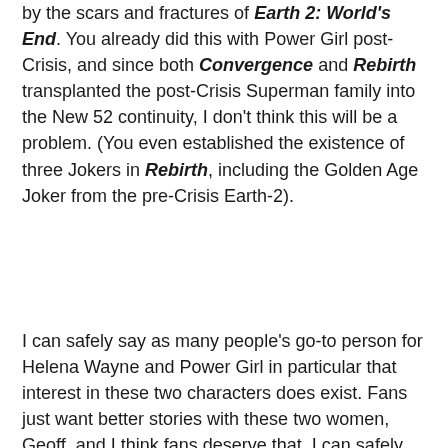by the scars and fractures of Earth 2: World's End. You already did this with Power Girl post-Crisis, and since both Convergence and Rebirth transplanted the post-Crisis Superman family into the New 52 continuity, I don't think this will be a problem. (You even established the existence of three Jokers in Rebirth, including the Golden Age Joker from the pre-Crisis Earth-2).
I can safely say as many people's go-to person for Helena Wayne and Power Girl in particular that interest in these two characters does exist. Fans just want better stories with these two women, Geoff, and I think fans deserve that. I can safely say they're hugely popular with both older and modern readers alike, and the friendship between these two women especially attracted a female audience, including LGBTQA women. I think DC should do something with that, Geoff, especially since it can make a huge difference for DC. You have Batman and Catwoman's daughter with Superman and Lois Lane's adopted Kryptonian daughter. There's a lot of potential to capitalise on there and these two characters can easily attract a large audience if given the right exposure, a solid direction, and a genuine chance to succeed. These characters don't deserve to fade out of existence again, and